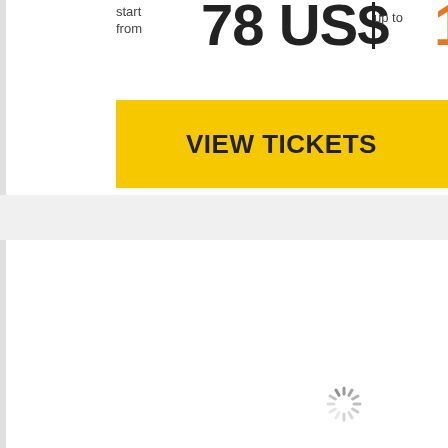start from
78 US$
up to
1
VIEW TICKETS
5 June 19:00
[Figure (other): Loading spinner icon]